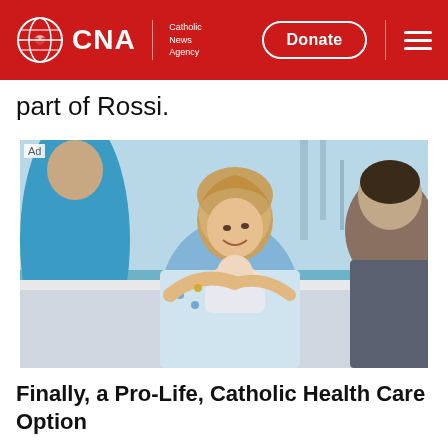CNA | Catholic News Agency
part of Rossi.
[Figure (photo): Hospital scene showing a smiling woman holding a newborn baby in a hospital bed, with a man looking on from the right and a healthcare worker in blue scrubs on the left. Labeled as an advertisement.]
Finally, a Pro-Life, Catholic Health Care Option